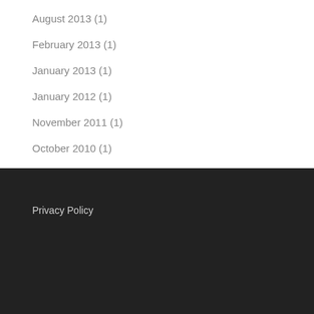August 2013 (1)
February 2013 (1)
January 2013 (1)
January 2012 (1)
November 2011 (1)
October 2010 (1)
Privacy Policy